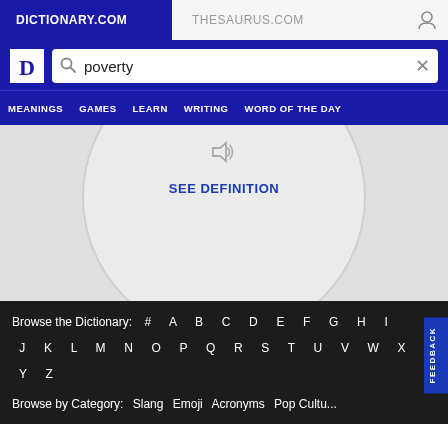DICTIONARY.COM    THESAURUS.COM
[Figure (screenshot): Dictionary.com logo - white D on blue background]
poverty
MEANINGS  GAMES  LEARN  WRITING  WORD OF THE DAY
SEE DEFINITION
Browse the Dictionary: # A B C D E F G H I
J K L M N O P Q R S T U V W X
Y Z
Browse by Category: Slang  Emoji  Acronyms  Pop Culture